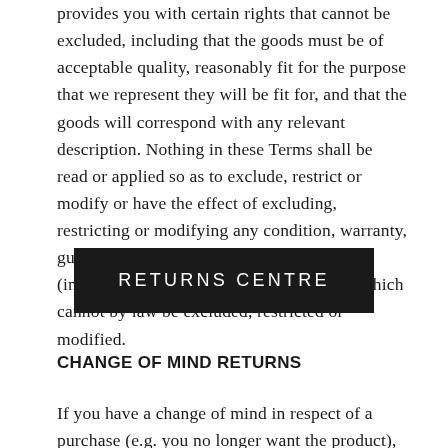provides you with certain rights that cannot be excluded, including that the goods must be of acceptable quality, reasonably fit for the purpose that we represent they will be fit for, and that the goods will correspond with any relevant description. Nothing in these Terms shall be read or applied so as to exclude, restrict or modify or have the effect of excluding, restricting or modifying any condition, warranty, guarantee, right or remedy implied by law (including the Australian Consumer Law) which cannot by law be excluded, restricted or modified.
[Figure (other): Black button with white text reading RETURNS CENTRE]
CHANGE OF MIND RETURNS
If you have a change of mind in respect of a purchase (e.g. you no longer want the product), we will accept a return within 14